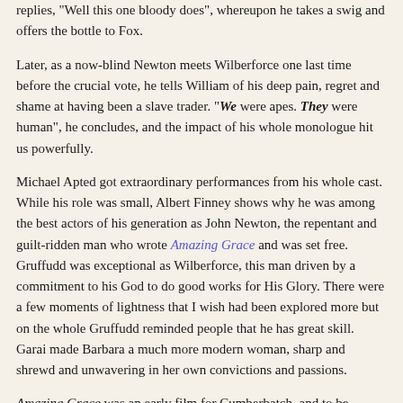replies, "Well this one bloody does", whereupon he takes a swig and offers the bottle to Fox.
Later, as a now-blind Newton meets Wilberforce one last time before the crucial vote, he tells William of his deep pain, regret and shame at having been a slave trader. "We were apes. They were human", he concludes, and the impact of his whole monologue hit us powerfully.
Michael Apted got extraordinary performances from his whole cast. While his role was small, Albert Finney shows why he was among the best actors of his generation as John Newton, the repentant and guilt-ridden man who wrote Amazing Grace and was set free. Gruffudd was exceptional as Wilberforce, this man driven by a commitment to his God to do good works for His Glory. There were a few moments of lightness that I wish had been explored more but on the whole Gruffudd reminded people that he has great skill. Garai made Barbara a much more modern woman, sharp and shrewd and unwavering in her own convictions and passions.
Amazing Grace was an early film for Cumberbatch, and to be honest I preferred him when he was an actor versus when he was a